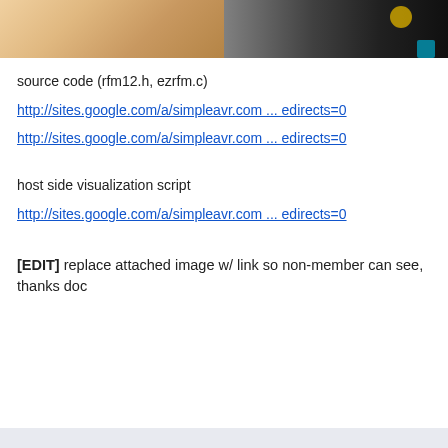[Figure (photo): Partial photo of a hand near electronic hardware/wiring, cropped at top of page]
source code (rfm12.h, ezrfm.c)
http://sites.google.com/a/simpleavr.com ... edirects=0
http://sites.google.com/a/simpleavr.com ... edirects=0
host side visualization script
http://sites.google.com/a/simpleavr.com ... edirects=0
[EDIT] replace attached image w/ link so non-member can see, thanks doc